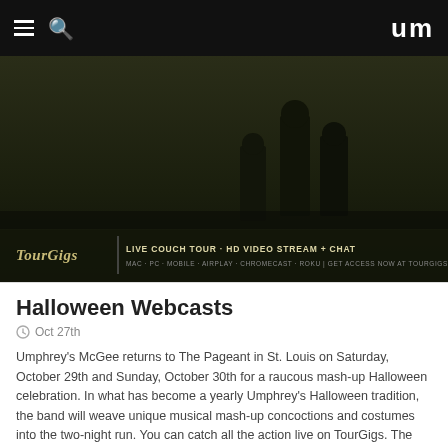um
[Figure (photo): TourGigs banner: dark silhouetted concert image with overlay text: LIVE COUCH TOUR · HD VIDEO STREAM + CHAT | MAC · PC · MOBILE · AIRPLAY · CHROMECAST · ROKU | GET ACCESS NOW AT TOURGIGS.COM]
Halloween Webcasts
Oct 27th
Umphrey's McGee returns to The Pageant in St. Louis on Saturday, October 29th and Sunday, October 30th for a raucous mash-up Halloween celebration. In what has become a yearly Umphrey's Halloween tradition, the band will weave unique musical mash-up concoctions and costumes into the two-night run. You can catch all the action live on TourGigs. The webcasts will be brought to you in stunning HD with crisp soundboard audio. Tune in for $12.99 per show …
Read More »